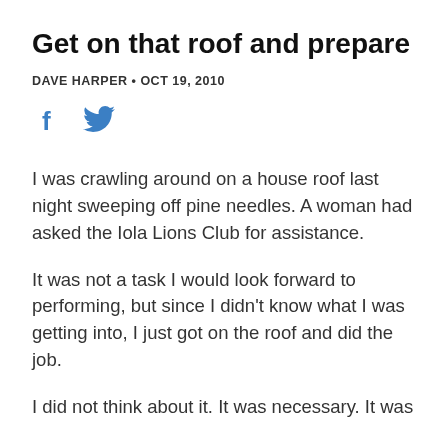Get on that roof and prepare
DAVE HARPER • OCT 19, 2010
[Figure (other): Social media share icons: Facebook (f) and Twitter (bird)]
I was crawling around on a house roof last night sweeping off pine needles. A woman had asked the Iola Lions Club for assistance.
It was not a task I would look forward to performing, but since I didn't know what I was getting into, I just got on the roof and did the job.
I did not think about it. It was necessary. It was